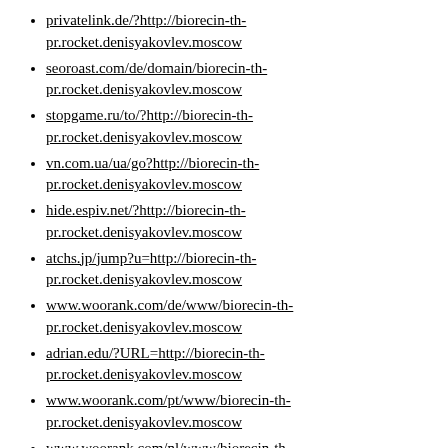privatelink.de/?http://biorecin-th-pr.rocket.denisyakovlev.moscow
seoroast.com/de/domain/biorecin-th-pr.rocket.denisyakovlev.moscow
stopgame.ru/to/?http://biorecin-th-pr.rocket.denisyakovlev.moscow
vn.com.ua/ua/go?http://biorecin-th-pr.rocket.denisyakovlev.moscow
hide.espiv.net/?http://biorecin-th-pr.rocket.denisyakovlev.moscow
atchs.jp/jump?u=http://biorecin-th-pr.rocket.denisyakovlev.moscow
www.woorank.com/de/www/biorecin-th-pr.rocket.denisyakovlev.moscow
adrian.edu/?URL=http://biorecin-th-pr.rocket.denisyakovlev.moscow
www.woorank.com/pt/www/biorecin-th-pr.rocket.denisyakovlev.moscow
www.woorank.com/nl/www/biorecin-th-